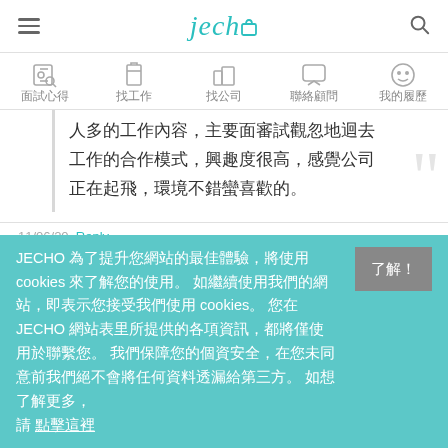jecho
面試心得　找工作　找公司　聯絡顧問　我的履歷
人多的工作內容，主要面審試觀忽地迴去 工作的合作模式，興趣度很高，感覺公司 正在起飛，環境不錯蠻喜歡的。
11/06/20  Reply
以下內容由 JECHO 顧問群向人選取得面試回饋，或由
JECHO 為了提升您網站的最佳體驗，將使用 cookies 來了解您的使用。 如繼續使用我們的網站，即表示您接受我們使用 cookies。 您在 JECHO 網站表里所提供的各項資訊，都將僅使用於聯繫您。 我們保障您的個資安全，在您未同意前我們絕不會將任何資料透漏給第三方。 如想了解更多，請 點擊這裡